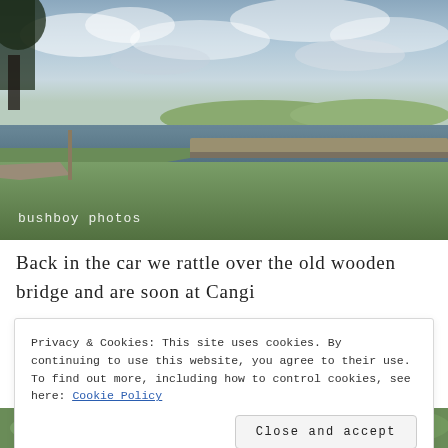[Figure (photo): Outdoor landscape photo showing a low concrete bridge over a calm river or dam, with green grass in the foreground, trees on the left, and cloudy sky. Watermark text 'bushboy photos' in lower left corner.]
Back in the car we rattle over the old wooden bridge and are soon at Cangi
Privacy & Cookies: This site uses cookies. By continuing to use this website, you agree to their use.
To find out more, including how to control cookies, see here: Cookie Policy
Close and accept
[Figure (photo): Partial view of another outdoor photo at the bottom of the page showing green vegetation.]